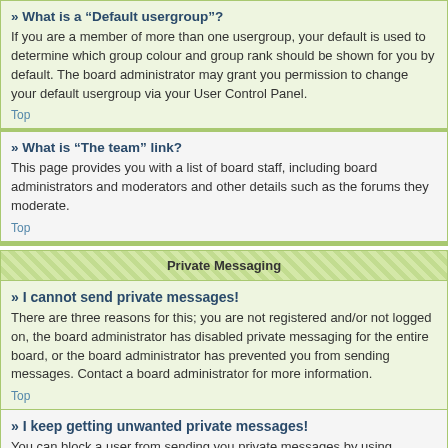» What is a "Default usergroup"?
If you are a member of more than one usergroup, your default is used to determine which group colour and group rank should be shown for you by default. The board administrator may grant you permission to change your default usergroup via your User Control Panel.
Top
» What is "The team" link?
This page provides you with a list of board staff, including board administrators and moderators and other details such as the forums they moderate.
Top
Private Messaging
» I cannot send private messages!
There are three reasons for this; you are not registered and/or not logged on, the board administrator has disabled private messaging for the entire board, or the board administrator has prevented you from sending messages. Contact a board administrator for more information.
Top
» I keep getting unwanted private messages!
You can block a user from sending you private messages by using message rules within your User Control Panel. If you are receiving